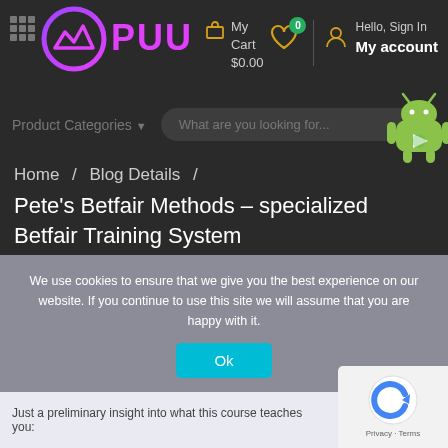[Figure (logo): PUU brand logo with circular icon on left and stylized text on right in magenta/pink color]
My Cart $0.00
[Figure (illustration): Heart wishlist icon with green badge showing 0]
Hello, Sign In My account
Product Categories
What are you looking for...
[Figure (illustration): Android robot mascot icon]
Home / Blog Details / Pete's Betfair Methods – specialized Betfair Training System
We use cookies to ensure that we give you the best experience on our website. If you continue to use this site we will assume that you are happy with it.
Ok
[Figure (illustration): reCAPTCHA badge with Google logo and Privacy - Terms text]
Just a preliminary insight into what this course teaches you: